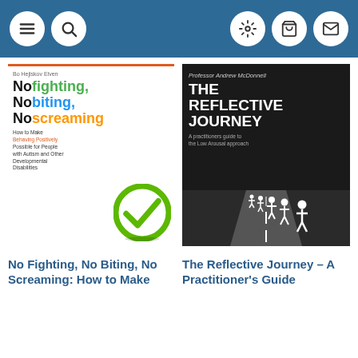Navigation bar with menu, search, settings, cart, and mail icons
[Figure (photo): Book cover: No Fighting, No Biting, No Screaming by Bo Hejlskov Elven, with green checkmark graphic]
[Figure (photo): Book cover: The Reflective Journey - A Practitioner's Guide to the Low Arousal Approach by Professor Andrew McDonnell, dark cover with people on a road]
No Fighting, No Biting, No Screaming: How to Make
The Reflective Journey – A Practitioner's Guide